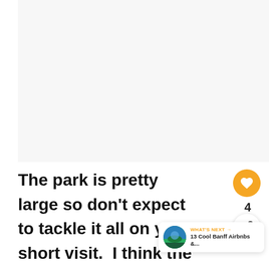[Figure (photo): Large image placeholder area at the top of the page, light gray background]
The park is pretty large so don't expect to tackle it all on your short visit.  I think the be part is on the waterfront along the Stanley Park sea wall. Park near the Horse Drawn t which also has a visitor's center booth. This
[Figure (infographic): WHAT'S NEXT → 13 Cool Banff Airbnbs &... promotional widget with circular thumbnail image]
[Figure (infographic): Orange heart button showing count of 4 and a share button]